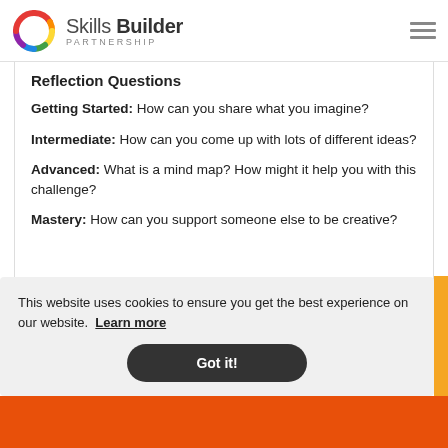Skills Builder PARTNERSHIP
Reflection Questions
Getting Started: How can you share what you imagine?
Intermediate: How can you come up with lots of different ideas?
Advanced: What is a mind map? How might it help you with this challenge?
Mastery: How can you support someone else to be creative?
This website uses cookies to ensure you get the best experience on our website. Learn more
Got it!